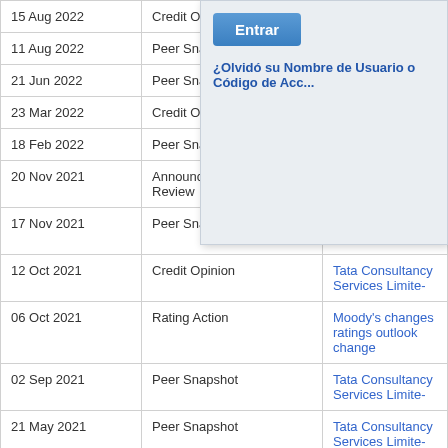| Date | Type | Title |
| --- | --- | --- |
| 15 Aug 2022 | Credit Op... |  |
| 11 Aug 2022 | Peer Sna... |  |
| 21 Jun 2022 | Peer Sna... |  |
| 23 Mar 2022 | Credit Op... |  |
| 18 Feb 2022 | Peer Sna... |  |
| 20 Nov 2021 | Announcement of Periodic Review |  |
| 17 Nov 2021 | Peer Snapshot | Tata Consultancy Services Limite- |
| 12 Oct 2021 | Credit Opinion | Tata Consultancy Services Limite- |
| 06 Oct 2021 | Rating Action | Moody's changes ratings outlook change |
| 02 Sep 2021 | Peer Snapshot | Tata Consultancy Services Limite- |
| 21 May 2021 | Peer Snapshot | Tata Consultancy Services Limite- |
| 29 Jan 2021 | Peer Snapshot | Tata Consultancy Services Limite- |
| 23 Jan 2021 | Announcement of Periodic Review | Moody's announces completion o- Limited |
| 16 Dec 2020 | Credit Opinion | Tata Consultancy Services Limite- |
[Figure (screenshot): Login overlay modal with 'Entrar' button and '¿Olvidó su Nombre de Usuario o Código de Acceso?' link]